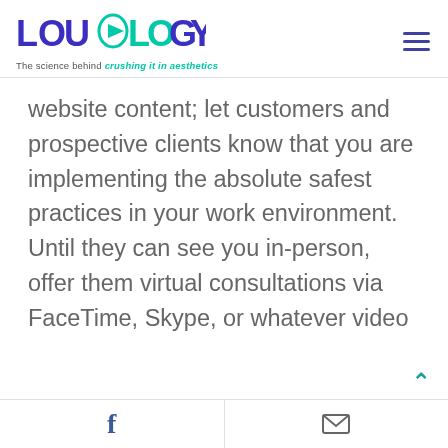[Figure (logo): LOU OLOGY logo with teal and blue lettering, play button icon inside the O]
The science behind crushing it in aesthetics
website content; let customers and prospective clients know that you are implementing the absolute safest practices in your work environment. Until they can see you in-person, offer them virtual consultations via FaceTime, Skype, or whatever video